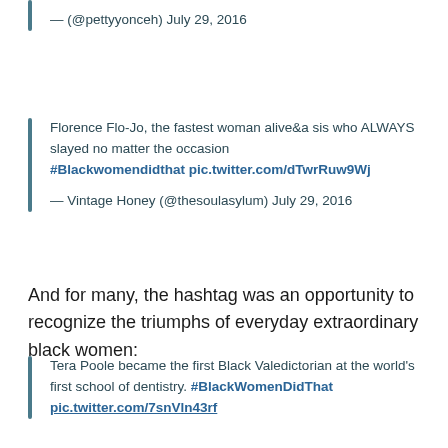— (@pettyyonceh) July 29, 2016
Florence Flo-Jo, the fastest woman alive&a sis who ALWAYS slayed no matter the occasion #Blackwomendidthat pic.twitter.com/dTwrRuw9Wj
— Vintage Honey (@thesoulasylum) July 29, 2016
And for many, the hashtag was an opportunity to recognize the triumphs of everyday extraordinary black women:
Tera Poole became the first Black Valedictorian at the world's first school of dentistry. #BlackWomenDidThat pic.twitter.com/7snVln43rf